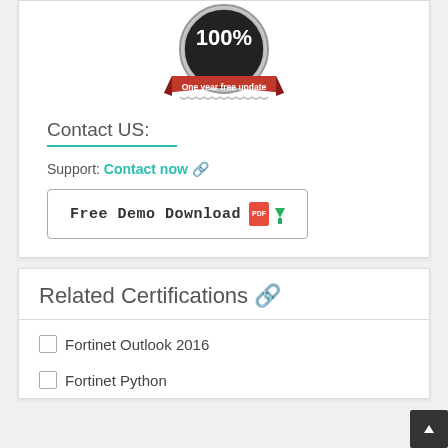[Figure (illustration): 100% guarantee badge with red ribbon reading 'One year free update']
Contact US:
Support: Contact now 🔗
[Figure (illustration): Free Demo Download button with PDF icon and green download arrow]
Related Certifications 🔗
Fortinet Outlook 2016
Fortinet Python